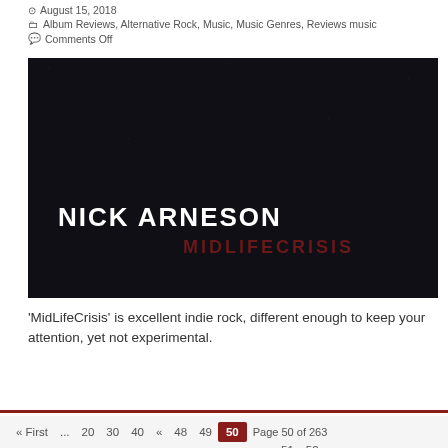August 15, 2018
Album Reviews, Alternative Rock, Music, Music Genres, Reviews music
Comments Off
[Figure (photo): Dark album cover for Nick Arneson - MidLifeCrisis, showing artist name in white bold text and album title in dark red text on a black background]
'MidLifeCrisis' is excellent indie rock, different enough to keep your attention, yet not experimental.
Read More »
« First ... 20 30 40 « 48 49 50 Page 50 of 263 51 52 »